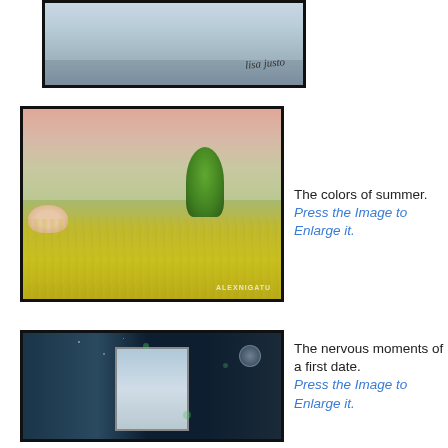[Figure (illustration): Partial view of a rainy/watercolor landscape painting with artist signature 'lisa justo' at bottom right, cropped at top of page]
The colors of summer. Press the Image to Enlarge it.
[Figure (illustration): Colorful illustration of a girl sleeping in a field of yellow dandelions with a large green tree and small figures in background under a pink sky. Watermark 'ALEXNIGATU' at bottom right.]
The nervous moments of a first date. Press the Image to Enlarge it.
[Figure (illustration): Dark night scene with an open window showing cloudy sky, dark curtains, moon, and glowing elements suggesting butterflies or fireflies.]